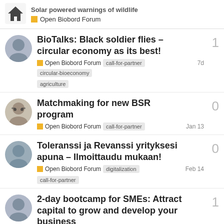Solar powered warnings of wildlife | Open Biobord Forum
BioTalks: Black soldier flies – circular economy as its best! | Open Biobord Forum | call-for-partner, circular-bioeconomy, agriculture | 7d | replies: 1
Matchmaking for new BSR program | Open Biobord Forum | call-for-partner | Jan 13 | replies: 0
Toleranssi ja Revanssi yrityksesi apuna – Ilmoittaudu mukaan! | Open Biobord Forum | digitalization, call-for-partner | Feb 14 | replies: 0
2-day bootcamp for SMEs: Attract capital to grow and develop your business | Open Biobord Forum | digitalization, technology | 21d | replies: 1